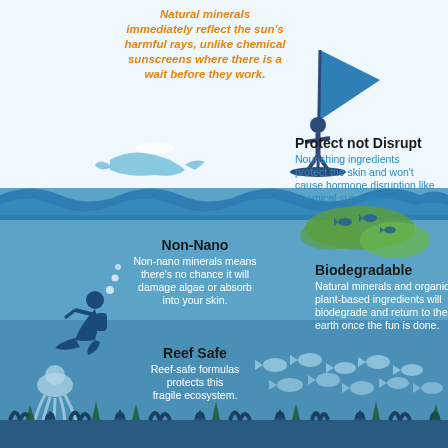[Figure (infographic): Infographic about natural/reef-safe sunscreen benefits. Top section (white background): orange italic text about natural minerals reflecting sun rays, illustration of windsurfer and dolphin. Right side: 'Protect not Disrupt' heading with blue text. Middle section (blue ocean background): 'Non-Nano' section with diver illustration, 'Biodegradable' section with algae and fish. Bottom: 'Reef Safe' section with squid and fish school, coral reef at bottom.]